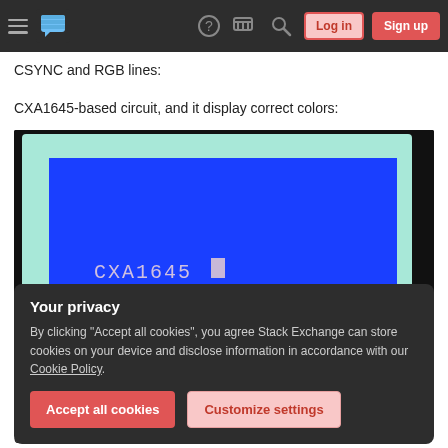Stack Exchange navigation bar with hamburger menu, logo, help, chat, search icons, Log in and Sign up buttons
CSYNC and RGB lines:
CXA1645-based circuit, and it display correct colors:
[Figure (photo): Photo of a computer monitor displaying a blue screen with the text 'CXA1645' and a small white cursor block, shown against a dark background]
Your privacy
By clicking "Accept all cookies", you agree Stack Exchange can store cookies on your device and disclose information in accordance with our Cookie Policy.
Accept all cookies
Customize settings
colors: